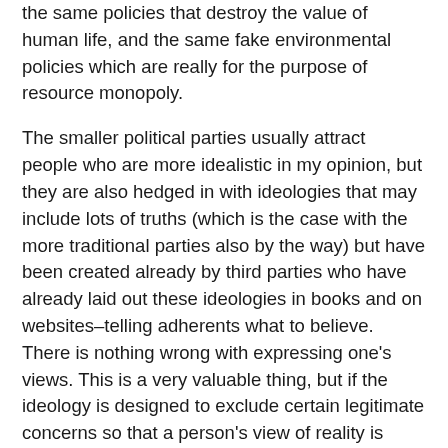the same policies that destroy the value of human life, and the same fake environmental policies which are really for the purpose of resource monopoly.
The smaller political parties usually attract people who are more idealistic in my opinion, but they are also hedged in with ideologies that may include lots of truths (which is the case with the more traditional parties also by the way) but have been created already by third parties who have already laid out these ideologies in books and on websites–telling adherents what to believe. There is nothing wrong with expressing one's views. This is a very valuable thing, but if the ideology is designed to exclude certain legitimate concerns so that a person's view of reality is skewed, then the organization is always going to appear to be wrong or half wrong to many people. Many people will perceive the political party and its ideology as flawed and not join or be involved in it.
This was my experience with libertarianism (the right-wing